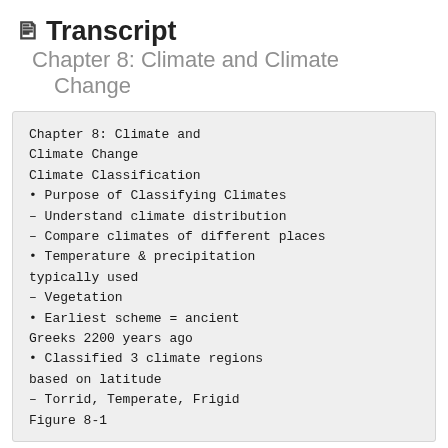Transcript  Chapter 8: Climate and Climate Change
Chapter 8: Climate and Climate Change
Climate Classification
• Purpose of Classifying Climates
– Understand climate distribution
– Compare climates of different places
• Temperature & precipitation typically used
– Vegetation
• Earliest scheme = ancient Greeks 2200 years ago
• Classified 3 climate regions based on latitude
– Torrid, Temperate, Frigid
Figure 8-1